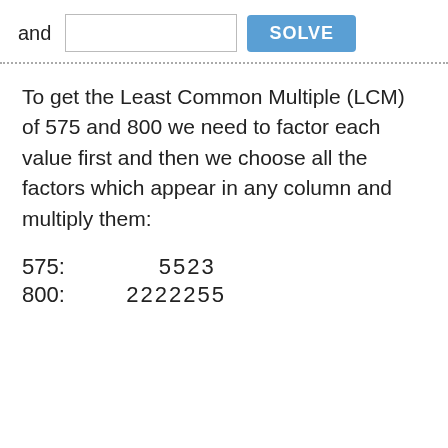and [input] SOLVE
To get the Least Common Multiple (LCM) of 575 and 800 we need to factor each value first and then we choose all the factors which appear in any column and multiply them:
575:    5523
800:    2222255